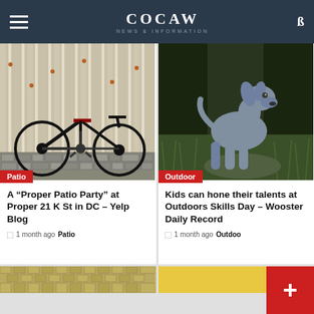COCAW NEWS & INFORMATION
[Figure (photo): A vintage black bicycle parked against a striped wall on cobblestone pavement]
Patio
A “Proper Patio Party” at Proper 21 K St in DC – Yelp Blog
1 month ago  Patio
[Figure (photo): A grey Weimaraner dog sitting in tall green grass outdoors]
Outdoor
Kids can hone their talents at Outdoors Skills Day – Wooster Daily Record
1 month ago  Outdoor
[Figure (photo): Partial view of a woven basket or item at bottom left]
[Figure (photo): Partial yellow/gold image at bottom right]